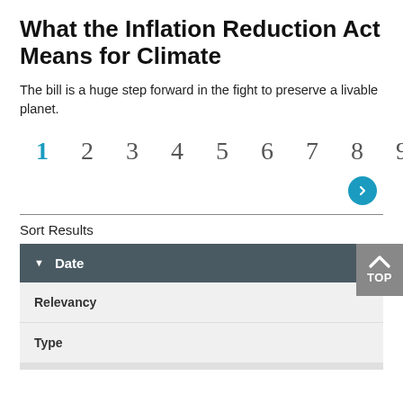What the Inflation Reduction Act Means for Climate
The bill is a huge step forward in the fight to preserve a livable planet.
[Figure (other): Pagination bar showing page numbers 1 through 9 with number 1 highlighted in blue, and a teal circular next-page arrow button below number 5]
Sort Results
| ▼  Date |
| Relevancy |
| Type |